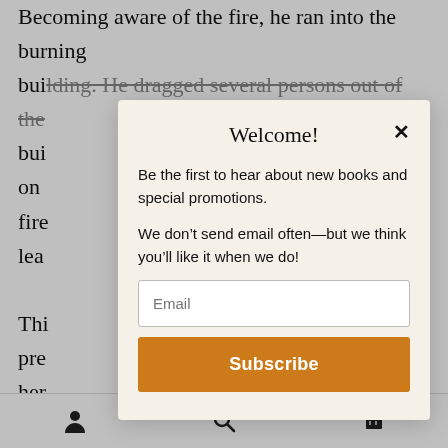Becoming aware of the fire, he ran into the burning bui|ding. He dragged several persons out of the bui on fire lea Thi pre her fall um lad
Welcome!
Be the first to hear about new books and special promotions.

We don't send email often—but we think you'll like it when we do!
Email
Subscribe
[Figure (screenshot): Bottom navigation bar with person icon, search/magnifying glass icon, and shopping cart icon]